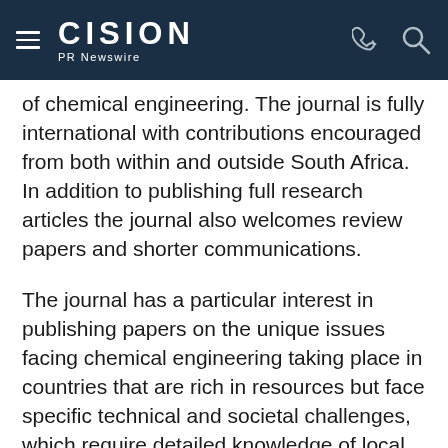CISION PR Newswire
of chemical engineering. The journal is fully international with contributions encouraged from both within and outside South Africa. In addition to publishing full research articles the journal also welcomes review papers and shorter communications.
The journal has a particular interest in publishing papers on the unique issues facing chemical engineering taking place in countries that are rich in resources but face specific technical and societal challenges, which require detailed knowledge of local conditions to address.